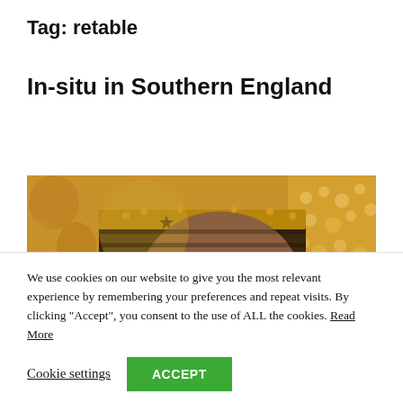Tag: retable
In-situ in Southern England
[Figure (photo): Close-up detail of a medieval painting showing a crowned figure wearing an ornate gold crown against a golden background, face visible with one eye looking sideways]
We use cookies on our website to give you the most relevant experience by remembering your preferences and repeat visits. By clicking “Accept”, you consent to the use of ALL the cookies. Read More
Cookie settings   ACCEPT